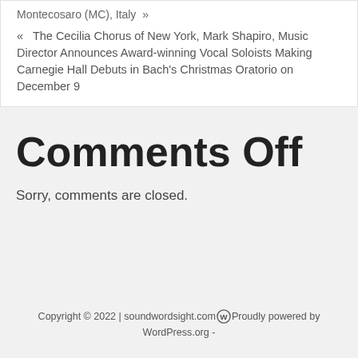Montecosaro (MC), Italy  »
«  The Cecilia Chorus of New York, Mark Shapiro, Music Director Announces Award-winning Vocal Soloists Making Carnegie Hall Debuts in Bach's Christmas Oratorio on December 9
Comments Off
Sorry, comments are closed.
Copyright © 2022 | soundwordsight.com  Proudly powered by WordPress.org -